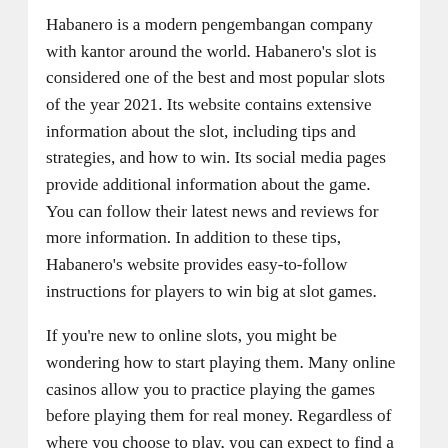Habanero is a modern pengembangan company with kantor around the world. Habanero's slot is considered one of the best and most popular slots of the year 2021. Its website contains extensive information about the slot, including tips and strategies, and how to win. Its social media pages provide additional information about the game. You can follow their latest news and reviews for more information. In addition to these tips, Habanero's website provides easy-to-follow instructions for players to win big at slot games.
If you're new to online slots, you might be wondering how to start playing them. Many online casinos allow you to practice playing the games before playing them for real money. Regardless of where you choose to play, you can expect to find a slot game that appeals to your personality and budget. The good news is that online slots are becoming increasingly popular and there are hundreds of